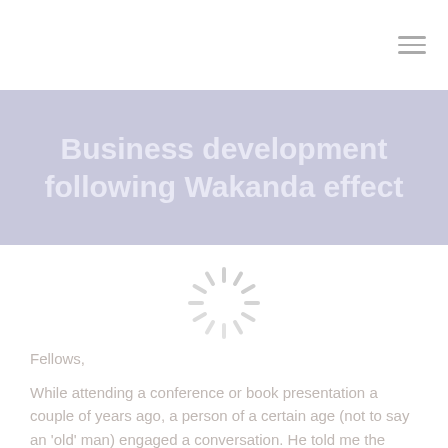Business development following Wakanda effect
[Figure (other): Loading spinner / activity indicator graphic — a circular arrangement of short radial lines in varying shades of grey, resembling a spinning wheel or loading indicator.]
Fellows,
While attending a conference or book presentation a couple of years ago, a person of a certain age (not to say an 'old' man) engaged a conversation. He told me the following: « my father said to me, if you want to be free, don't work for someone else ».
So, I asked him « which understanding have you taken from